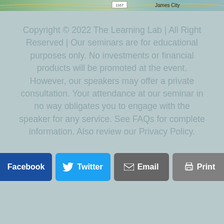[Figure (map): Partial top strip of a map showing green areas and the text 'James City']
Copyright © 2022 The Learning Lab | All Right Reserved | Our seminars are for educational purposes only. No investments or financial products will be promoted at the event. However, our speakers may offer a private consultation. Your attendance at our seminar in no way obligates you to engage with the speaker for any service. See FAQs for complete information. Also review our Privacy Policy.